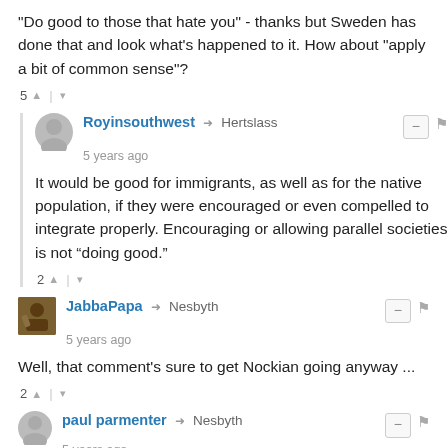"Do good to those that hate you" - thanks but Sweden has done that and look what's happened to it. How about "apply a bit of common sense"?
5 ↑ | ↓
Royinsouthwest → Hertslass
5 years ago
It would be good for immigrants, as well as for the native population, if they were encouraged or even compelled to integrate properly. Encouraging or allowing parallel societies is not “doing good.”
2 ↑ | ↓
JabbaPapa → Nesbyth
5 years ago
Well, that comment's sure to get Nockian going anyway ...
2 ↑ | ↓
paul parmenter → Nesbyth
5 years ago
Good grief, you sound like a Christian. I thought they had been